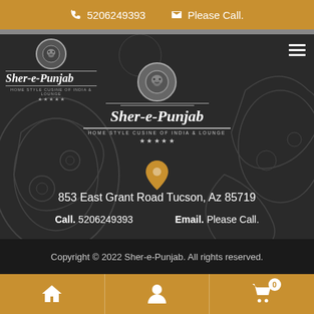5206249393   Please Call.
[Figure (logo): Sher-e-Punjab restaurant logo with lion emblem, text: Sher-e-Punjab, Home Style Cusine of India & Lounge, five stars]
[Figure (logo): Sher-e-Punjab center logo with lion emblem, text: Sher-e-Punjab, Home Style Cusine of India & Lounge, five stars]
853 East Grant Road Tucson, Az 85719
Call. 5206249393    Email. Please Call.
Copyright © 2022 Sher-e-Punjab. All rights reserved.